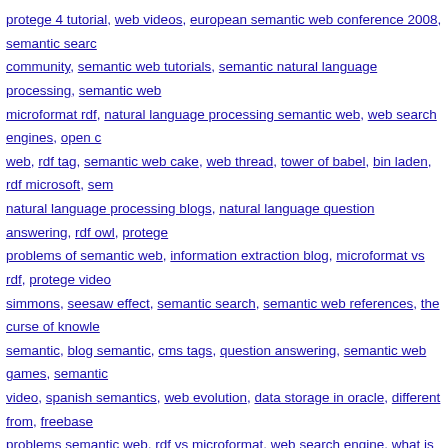protege 4 tutorial, web videos, european semantic web conference 2008, semantic search community, semantic web tutorials, semantic natural language processing, semantic web microformat rdf, natural language processing semantic web, web search engines, open c web, rdf tag, semantic web cake, web thread, tower of babel, bin laden, rdf microsoft, sem natural language processing blogs, natural language question answering, rdf owl, protege problems of semantic web, information extraction blog, microformat vs rdf, protege video simmons, seesaw effect, semantic search, semantic web references, the curse of knowle semantic, blog semantic, cms tags, question answering, semantic web games, semantic video, spanish semantics, web evolution, data storage in oracle, different from, freebase problems semantic web, rdf vs microformat, web search engine, what is true knowledge, blog, question answering wikipedia, semantics, web service ontology, zitgist, freebase lin web vision and technologies, ontology blog, owl introduction, protege semantic, selfishnes web protege, focus semantics, freebase vs dbpedia, microformats and rdf, microformats v owl tags, protege semantic web, search engine semantic web, semantic web owl, altova initiative, eswc 2008 semantic, protege, semantic web microformats, semantic web resea technologies, arc semantic, natural language semantic web, oracle semantic web, owl se web, rdf, semantic web layer, semantic web tags, service ontology, sparql python, vertical rdf, cms semantic, dbpedia vs freebase, hyperdata, natural language processing semanti